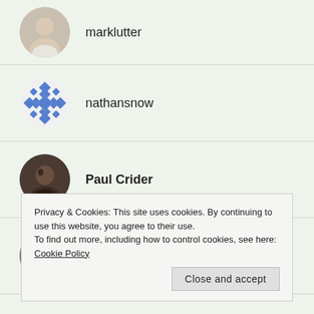marklutter
nathansnow
Paul Crider
pxdelaney
Privacy & Cookies: This site uses cookies. By continuing to use this website, you agree to their use.
To find out more, including how to control cookies, see here: Cookie Policy
Close and accept